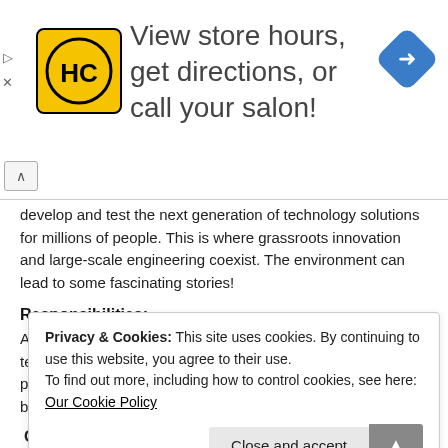[Figure (infographic): Advertisement banner for a salon/hair care service. Shows HC logo in yellow circle on black, text 'View store hours, get directions, or call your salon!', and a blue navigation arrow icon.]
develop and test the next generation of technology solutions for millions of people. This is where grassroots innovation and large-scale engineering coexist. The environment can lead to some fascinating stories!
Responsibilities:
As a Software engineer (SWE) at Microsoft, you will work in a team with other SWEs and program managers to solve problems and build innovative software solutions. You must be customer-obsessed and display a drive for quality.
Privacy & Cookies: This site uses cookies. By continuing to use this website, you agree to their use.
To find out more, including how to control cookies, see here: Our Cookie Policy
Qualifications